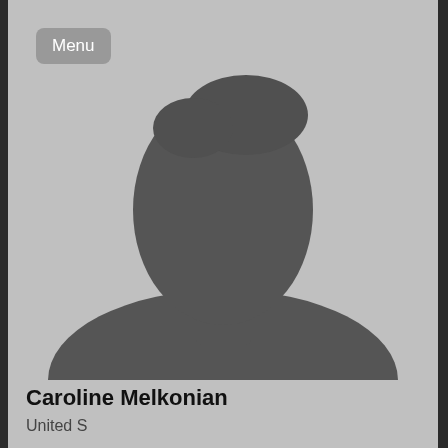[Figure (photo): Generic placeholder silhouette profile photo of a person, gray on gray background]
Caroline Melkonian
United S...